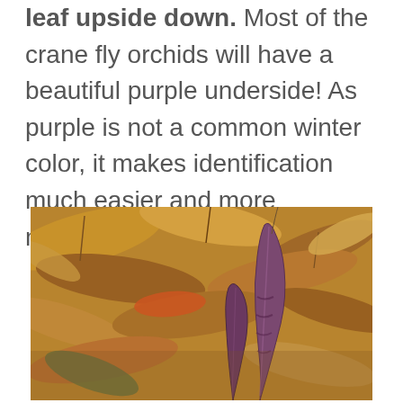leaf upside down. Most of the crane fly orchids will have a beautiful purple underside! As purple is not a common winter color, it makes identification much easier and more memorable.
[Figure (photo): Close-up photograph of crane fly orchid leaves lying among autumn leaf litter on the ground. The leaves show a distinctive purple underside, with one leaf turned upward revealing its rich purple-violet coloration. Surrounding dead leaves are brown and orange.]